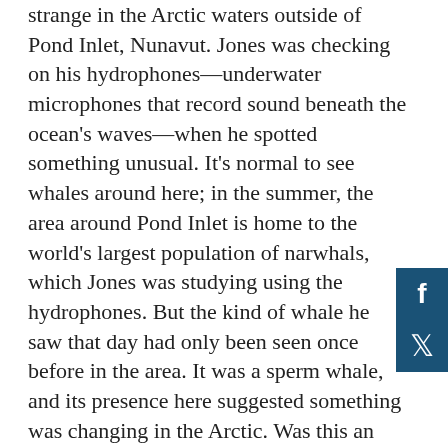strange in the Arctic waters outside of Pond Inlet, Nunavut. Jones was checking on his hydrophones—underwater microphones that record sound beneath the ocean's waves—when he spotted something unusual. It's normal to see whales around here; in the summer, the area around Pond Inlet is home to the world's largest population of narwhals, which Jones was studying using the hydrophones. But the kind of whale he saw that day had only been seen once before in the area. It was a sperm whale, and its presence here suggested something was changing in the Arctic. Was this an anomaly—or the sign of something more significant, as sperm whales shift their range to higher latitudes?
Now, a new article co-authored by Dr. Kristin Westdal, Oceans North's Arctic Field Science Director, and Alex Ootoowak, Oceans North's Field Technician, has shed light on how many sperm whales are travelling north—